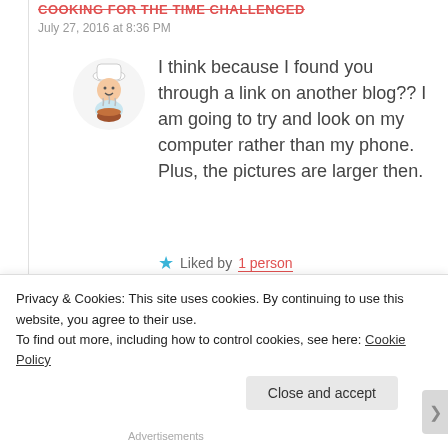COOKING FOR THE TIME CHALLENGED
July 27, 2016 at 8:36 PM
I think because I found you through a link on another blog?? I am going to try and look on my computer rather than my phone. Plus, the pictures are larger then.
★ Liked by 1 person
KOOLKOSHERKITCHEN  July 27, 2016 at 10:40 PM
I periodically search on reader for a
Privacy & Cookies: This site uses cookies. By continuing to use this website, you agree to their use.
To find out more, including how to control cookies, see here: Cookie Policy
Close and accept
Advertisements